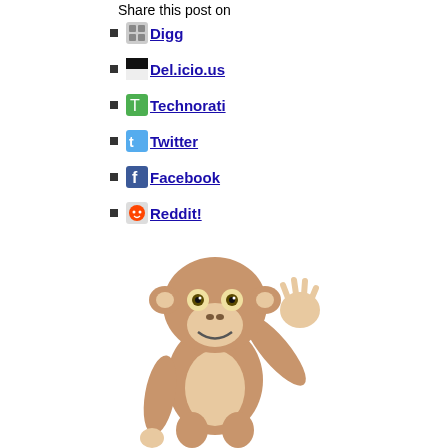Share this post on
Digg
Del.icio.us
Technorati
Twitter
Facebook
Reddit!
[Figure (illustration): 3D cartoon monkey waving its right hand, with tan/brown coloring, large eyes, and an open smiling mouth]